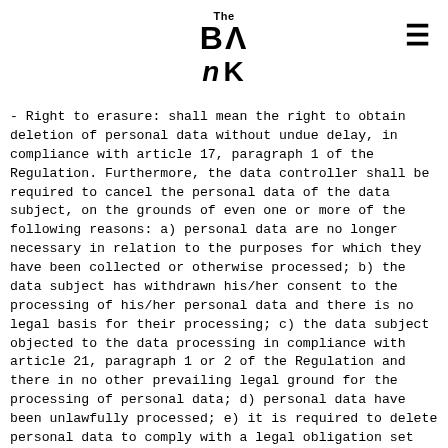The BAnK
- Right to erasure: shall mean the right to obtain deletion of personal data without undue delay, in compliance with article 17, paragraph 1 of the Regulation. Furthermore, the data controller shall be required to cancel the personal data of the data subject, on the grounds of even one or more of the following reasons: a) personal data are no longer necessary in relation to the purposes for which they have been collected or otherwise processed; b) the data subject has withdrawn his/her consent to the processing of his/her personal data and there is no legal basis for their processing; c) the data subject objected to the data processing in compliance with article 21, paragraph 1 or 2 of the Regulation and there in no other prevailing legal ground for the processing of personal data; d) personal data have been unlawfully processed; e) it is required to delete personal data to comply with a legal obligation set out by the EU regulation or a provision of national law. In some instances, as provided for in article 17, paragraph 3 of the Regulation, data controller is entitled not to delete the personal data of the data subject when such processing is required to exercise, for example, the right to freedom of expression and information, to comply with a legal obligation, for reasons of public interest, for purposes of archiving in the public interest, of historical and scientific research or